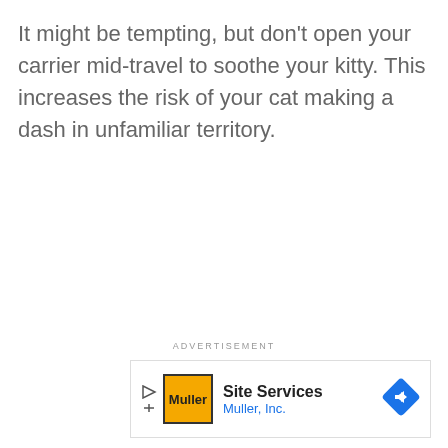It might be tempting, but don't open your carrier mid-travel to soothe your kitty. This increases the risk of your cat making a dash in unfamiliar territory.
ADVERTISEMENT
[Figure (other): Advertisement banner for 'Site Services' by Muller, Inc. with yellow Muller logo, play/stop icons on the left, and a blue diamond arrow icon on the right.]